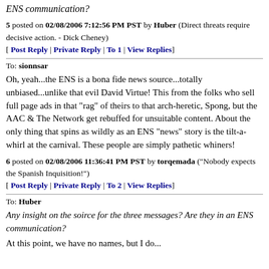ENS communication?
5 posted on 02/08/2006 7:12:56 PM PST by Huber (Direct threats require decisive action. - Dick Cheney)
[ Post Reply | Private Reply | To 1 | View Replies]
To: sionnsar
Oh, yeah...the ENS is a bona fide news source...totally unbiased...unlike that evil David Virtue! This from the folks who sell full page ads in that "rag" of theirs to that arch-heretic, Spong, but the AAC & The Network get rebuffed for unsuitable content. About the only thing that spins as wildly as an ENS "news" story is the tilt-a-whirl at the carnival. These people are simply pathetic whiners!
6 posted on 02/08/2006 11:36:41 PM PST by torqemada ("Nobody expects the Spanish Inquisition!")
[ Post Reply | Private Reply | To 2 | View Replies]
To: Huber
Any insight on the soirce for the three messages? Are they in an ENS communication?
At this point, we have no names, but I do...